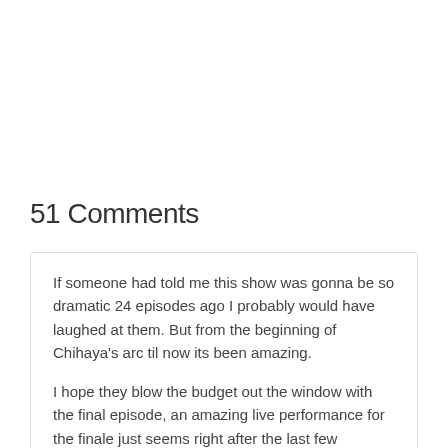51 Comments
If someone had told me this show was gonna be so dramatic 24 episodes ago I probably would have laughed at them. But from the beginning of Chihaya's arc til now its been amazing.

I hope they blow the budget out the window with the final episode, an amazing live performance for the finale just seems right after the last few episodes.